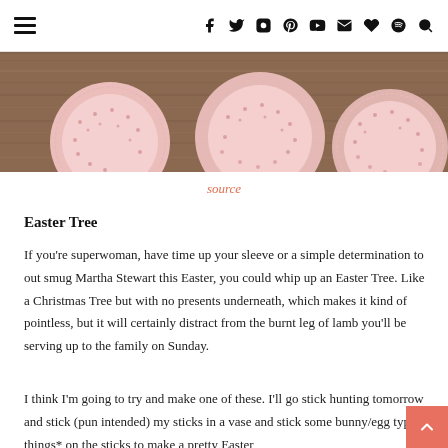≡  f  Twitter  Instagram  Pinterest  YouTube  Mail  Heart  Spotify  Search
[Figure (photo): Pink paper doilies scattered on a wooden surface, photographed close-up]
source
Easter Tree
If you're superwoman, have time up your sleeve or a simple determination to out smug Martha Stewart this Easter, you could whip up an Easter Tree. Like a Christmas Tree but with no presents underneath, which makes it kind of pointless, but it will certainly distract from the burnt leg of lamb you'll be serving up to the family on Sunday.
I think I'm going to try and make one of these. I'll go stick hunting tomorrow and stick (pun intended) my sticks in a vase and stick some bunny/egg type things* on the sticks to make a pretty Easter